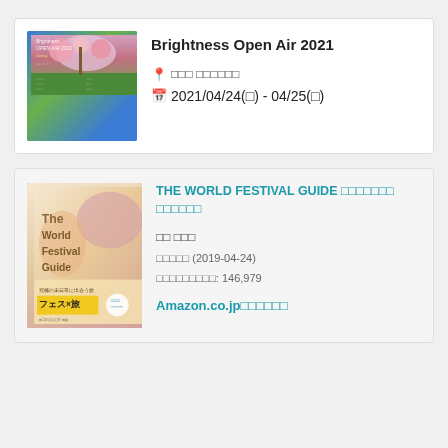[Figure (photo): Event poster image for Brightness Open Air 2021 with spring flowers and text]
Brightness Open Air 2021
📍 □□□ □□□□□□
📅 2021/04/24(□) - 04/25(□)
[Figure (photo): Book cover for The World Festival Guide with festival imagery]
THE WORLD FESTIVAL GUIDE □□□□□□□ □□□□□□
□□ □□□
□□□□□ (2019-04-24)
□□□□□□□□□: 146,979
Amazon.co.jp□□□□□□